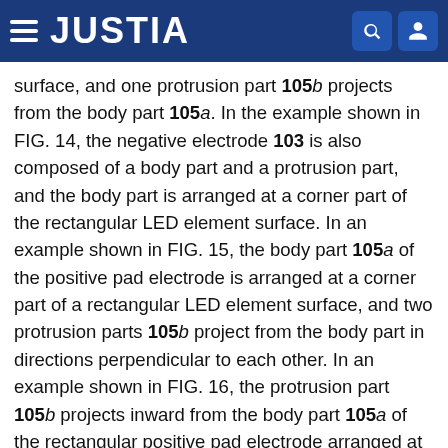JUSTIA
surface, and one protrusion part 105b projects from the body part 105a. In the example shown in FIG. 14, the negative electrode 103 is also composed of a body part and a protrusion part, and the body part is arranged at a corner part of the rectangular LED element surface. In an example shown in FIG. 15, the body part 105a of the positive pad electrode is arranged at a corner part of a rectangular LED element surface, and two protrusion parts 105b project from the body part in directions perpendicular to each other. In an example shown in FIG. 16, the protrusion part 105b projects inward from the body part 105a of the rectangular positive pad electrode arranged at an edge of a rectangular LED element surface. In the example shown in FIG. 16, the first conductive film 104-1 just under the protrusion part 105b of the positive pad electrode is also removed. In an example shown in FIG. 17, two positive pad electrodes